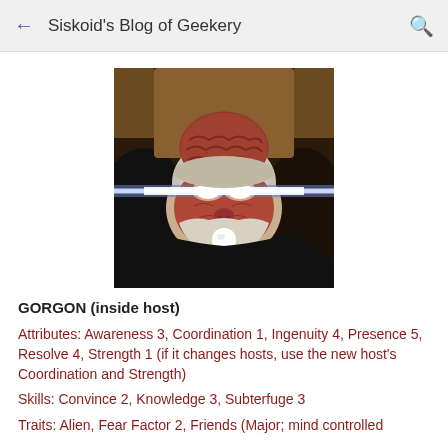Siskoid's Blog of Geekery
[Figure (photo): Close-up photo of an alien creature (Gorgon) inside a host body, with glowing white eyes emitting a beam of light, wrinkled reddish-brown skin, and a round white protrusion from the mouth, dressed in dark robes.]
GORGON (inside host)
Attributes: Awareness 3, Coordination 1, Ingenuity 4, Presence 5, Resolve 4, Strength 1 (if it changes hosts, use the new host's Coordination and Strength)
Skills: Convince 2, Knowledge 3, Subterfuge 3
Traits: Alien, Fear Factor 2, Friends (Major; mind controlled